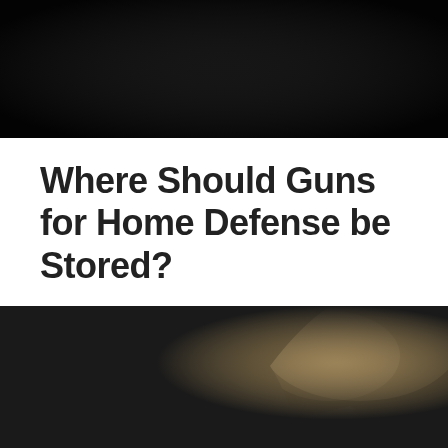[Figure (photo): Dark/black background image at top of page, appears to be a dimly lit scene]
Where Should Guns for Home Defense be Stored?
[Figure (photo): Silhouette of a person in a dark hallway aiming a handgun, dramatic low-light photography]